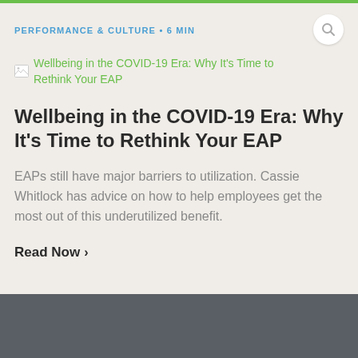PERFORMANCE & CULTURE • 6 MIN
[Figure (illustration): Broken image placeholder with link text: Wellbeing in the COVID-19 Era: Why It's Time to Rethink Your EAP]
Wellbeing in the COVID-19 Era: Why It's Time to Rethink Your EAP
EAPs still have major barriers to utilization. Cassie Whitlock has advice on how to help employees get the most out of this underutilized benefit.
Read Now ›